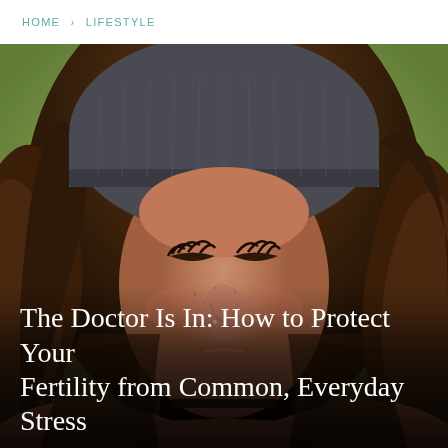HOME › LIFESTYLE
[Figure (photo): Close-up portrait of a young woman with long brown wavy hair wearing a dark grey knit beanie hat and a pink/rust jacket, looking downward with eyes closed, with a blurred green background.]
The Doctor Is In: How to Protect Your Fertility from Common, Everyday Stress